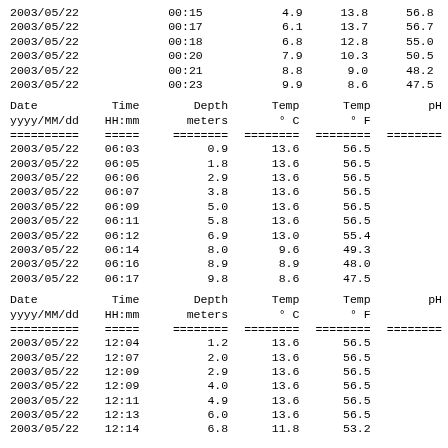| Date yyyy/MM/dd | Time HH:mm | Depth meters | Temp ° C | Temp ° F | pH |
| --- | --- | --- | --- | --- | --- |
| 2003/05/22 | 00:15 | 4.9 | 13.8 | 56.8 |  |
| 2003/05/22 | 00:17 | 6.1 | 13.7 | 56.7 |  |
| 2003/05/22 | 00:18 | 6.8 | 12.8 | 55.0 |  |
| 2003/05/22 | 00:20 | 7.9 | 10.3 | 50.5 |  |
| 2003/05/22 | 00:21 | 8.8 | 9.0 | 48.2 |  |
| 2003/05/22 | 00:23 | 9.9 | 8.6 | 47.5 |  |
| Date yyyy/MM/dd | Time HH:mm | Depth meters | Temp ° C | Temp ° F | pH |
| --- | --- | --- | --- | --- | --- |
| 2003/05/22 | 06:03 | 0.9 | 13.6 | 56.5 |  |
| 2003/05/22 | 06:05 | 1.8 | 13.6 | 56.5 |  |
| 2003/05/22 | 06:06 | 2.9 | 13.6 | 56.5 |  |
| 2003/05/22 | 06:07 | 3.8 | 13.6 | 56.5 |  |
| 2003/05/22 | 06:09 | 5.0 | 13.6 | 56.5 |  |
| 2003/05/22 | 06:11 | 5.8 | 13.6 | 56.5 |  |
| 2003/05/22 | 06:12 | 6.9 | 13.0 | 55.4 |  |
| 2003/05/22 | 06:14 | 8.0 | 9.6 | 49.3 |  |
| 2003/05/22 | 06:16 | 8.9 | 8.9 | 48.0 |  |
| 2003/05/22 | 06:17 | 9.8 | 8.6 | 47.5 |  |
| Date yyyy/MM/dd | Time HH:mm | Depth meters | Temp ° C | Temp ° F | pH |
| --- | --- | --- | --- | --- | --- |
| 2003/05/22 | 12:04 | 1.2 | 13.6 | 56.5 |  |
| 2003/05/22 | 12:07 | 2.0 | 13.6 | 56.5 |  |
| 2003/05/22 | 12:09 | 2.9 | 13.6 | 56.5 |  |
| 2003/05/22 | 12:09 | 4.0 | 13.6 | 56.5 |  |
| 2003/05/22 | 12:11 | 4.9 | 13.6 | 56.5 |  |
| 2003/05/22 | 12:13 | 6.0 | 13.6 | 56.5 |  |
| 2003/05/22 | 12:14 | 6.8 | 11.8 | 53.2 |  |